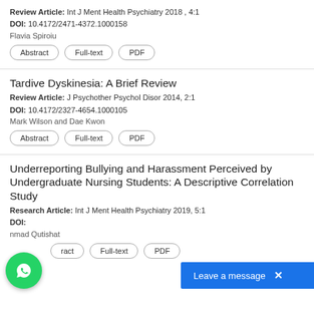Review Article: Int J Ment Health Psychiatry 2018 , 4:1
DOI: 10.4172/2471-4372.1000158
Flavia Spiroiu
Abstract | Full-text | PDF
Tardive Dyskinesia: A Brief Review
Review Article: J Psychother Psychol Disor 2014, 2:1
DOI: 10.4172/2327-4654.1000105
Mark Wilson and Dae Kwon
Abstract | Full-text | PDF
Underreporting Bullying and Harassment Perceived by Undergraduate Nursing Students: A Descriptive Correlation Study
Research Article: Int J Ment Health Psychiatry 2019, 5:1
DOI:
nmad Qutishat
Abstract | Full-text | PDF